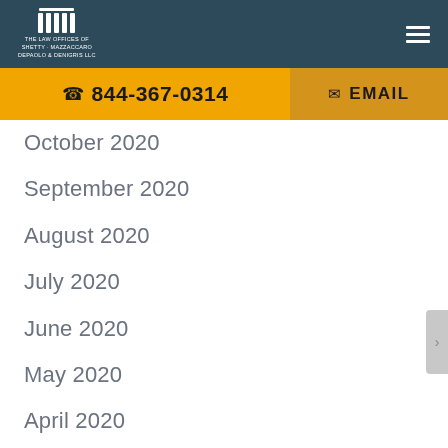THE LAW OFFICES OF SHETTY · MAZZACCARO DEPAOLO & DENIGRIS LLC
844-367-0314   EMAIL
October 2020
September 2020
August 2020
July 2020
June 2020
May 2020
April 2020
March 2020
February 2020